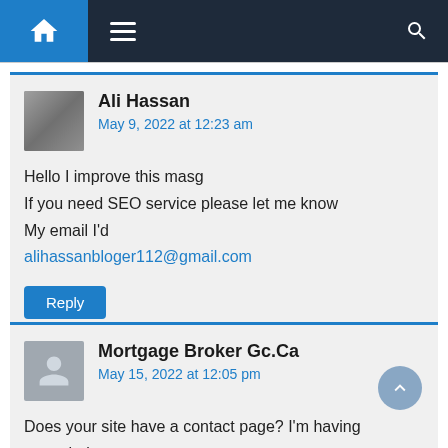Navigation bar with home icon, hamburger menu, and search icon
Ali Hassan
May 9, 2022 at 12:23 am

Hello I improve this masg
If you need SEO service please let me know
My email I'd
alihassanbloger112@gmail.com
Reply
Mortgage Broker Gc.Ca
May 15, 2022 at 12:05 pm

Does your site have a contact page? I'm having
a tough time